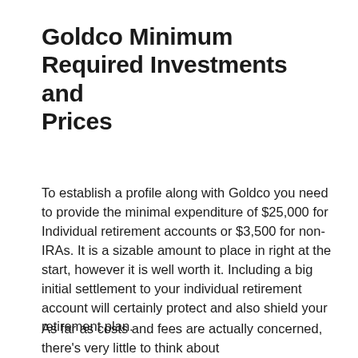Goldco Minimum Required Investments and Prices
To establish a profile along with Goldco you need to provide the minimal expenditure of $25,000 for Individual retirement accounts or $3,500 for non-IRAs. It is a sizable amount to place in right at the start, however it is well worth it. Including a big initial settlement to your individual retirement account will certainly protect and also shield your retirement plan.
As far as costs and fees are actually concerned, there's very little to think about